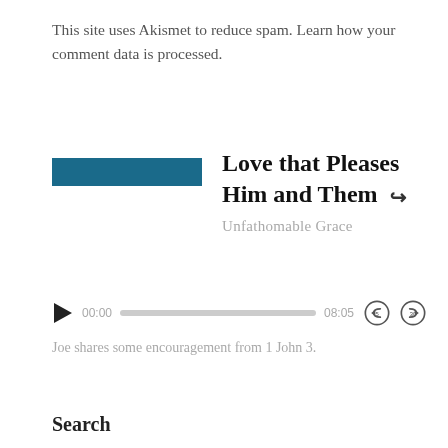This site uses Akismet to reduce spam. Learn how your comment data is processed.
Love that Pleases Him and Them
Unfathomable Grace
[Figure (screenshot): Audio player with play button, time display 00:00 / 08:05, progress bar, rewind 5s and fast-forward 30s controls]
Joe shares some encouragement from 1 John 3.
Search